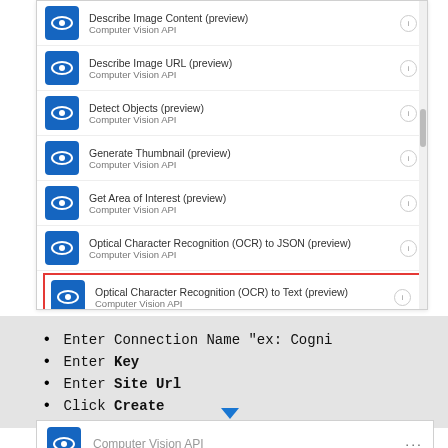[Figure (screenshot): A UI dropdown/list showing Computer Vision API actions: Describe Image Content (preview), Describe Image URL (preview), Detect Objects (preview), Generate Thumbnail (preview), Get Area of Interest (preview), Optical Character Recognition (OCR) to JSON (preview), and Optical Character Recognition (OCR) to Text (preview) — the last item is highlighted with a red border.]
Enter Connection Name "ex: Cogni
Enter Key
Enter Site Url
Click Create
[Figure (screenshot): Bottom panel showing Computer Vision API connector with blue eye icon and three dot menu.]